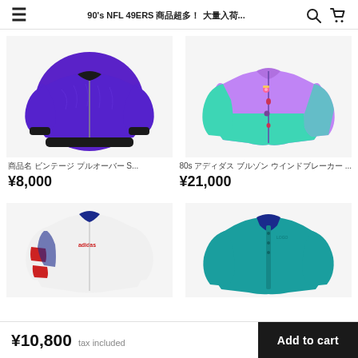90's NFL 49ERS ??????????? ????... [search] [cart]
[Figure (photo): Purple quilted bomber jacket with black collar and cuffs, vintage 90s style]
?????? ????????? ????????? S...
¥8,000
[Figure (photo): 80s purple and teal color-block windbreaker jacket with decorative pins/badges]
80s ?????? ????? ?????????? ...
¥21,000
[Figure (photo): White, red, and blue striped adidas racing jacket, partial view]
[Figure (photo): Teal blue polo/jacket with navy collar, partial view]
¥10,800  tax included
Add to cart